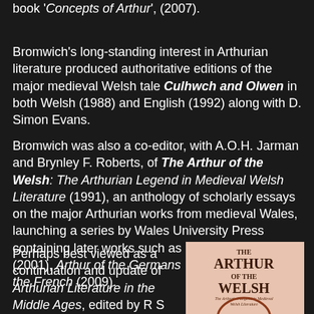book 'Concepts of Arthur', (2007).
Bromwich's long-standing interest in Arthurian literature produced authoritative editions of the major medieval Welsh tale Culhwch and Olwen in both Welsh (1988) and English (1992) along with D. Simon Evans.
Bromwich was also a co-editor, with A.O.H. Jarman and Brynley F. Roberts, of The Arthur of the Welsh: The Arthurian Legend in Medieval Welsh Literature (1991), an anthology of scholarly essays on the major Arthurian works from medieval Wales, launching a series by Wales University Press containing later works such as Arthur of the English (2001), Arthur of the Germans (2002), and Arthur of the French (2009).
Perhaps best viewed as a continuation and update of Arthurian Literature in the Middle Ages, edited by R S Loomis which first appeared in 1959, Arthur of the Welsh contains a
[Figure (photo): Book cover of 'The Arthur of the Welsh: The Arthurian Legend in Medieval Welsh Literature' — salmon/pink background with bold serif title text and a partial circular graphic at the bottom.]